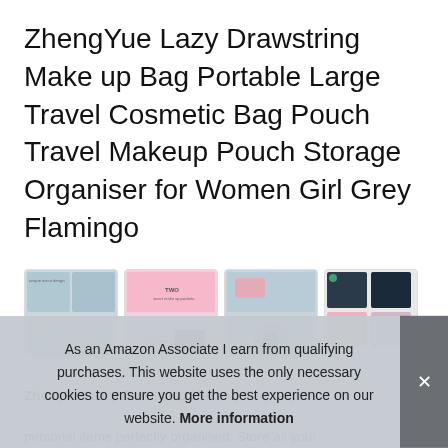ZhengYue Lazy Drawstring Make up Bag Portable Large Travel Cosmetic Bag Pouch Travel Makeup Pouch Storage Organiser for Women Girl Grey Flamingo
[Figure (photo): Four thumbnail product images of the ZhengYue drawstring makeup bag in grey flamingo pattern, showing the bag open and closed, and various color variants.]
ZhengYue Lazy Drawstring Make up Bag — personal storage description and item details.
of makeup you have placed and easily put it in your backpack
As an Amazon Associate I earn from qualifying purchases. This website uses the only necessary cookies to ensure you get the best experience on our website. More information